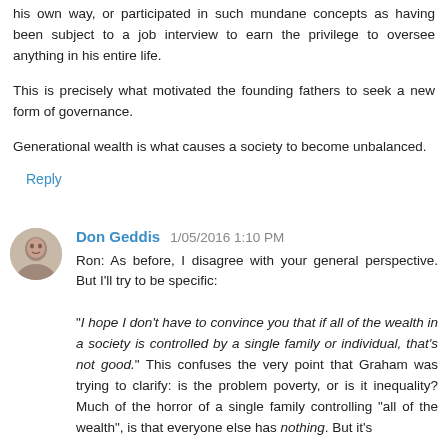his own way, or participated in such mundane concepts as having been subject to a job interview to earn the privilege to oversee anything in his entire life.
This is precisely what motivated the founding fathers to seek a new form of governance.
Generational wealth is what causes a society to become unbalanced.
Reply
Don Geddis  1/05/2016 1:10 PM
Ron: As before, I disagree with your general perspective. But I'll try to be specific:

"I hope I don't have to convince you that if all of the wealth in a society is controlled by a single family or individual, that's not good." This confuses the very point that Graham was trying to clarify: is the problem poverty, or is it inequality? Much of the horror of a single family controlling "all of the wealth", is that everyone else has nothing. But it's